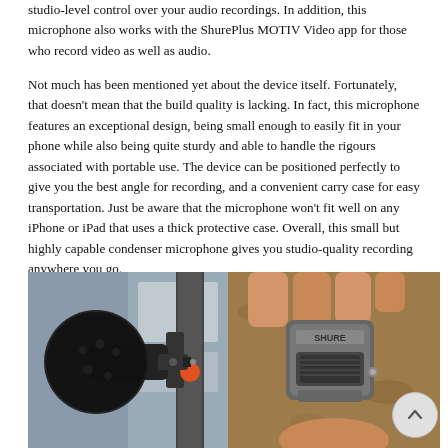studio-level control over your audio recordings. In addition, this microphone also works with the ShurePlus MOTIV Video app for those who record video as well as audio.
Not much has been mentioned yet about the device itself. Fortunately, that doesn't mean that the build quality is lacking. In fact, this microphone features an exceptional design, being small enough to easily fit in your phone while also being quite sturdy and able to handle the rigours associated with portable use. The device can be positioned perfectly to give you the best angle for recording, and a convenient carry case for easy transportation. Just be aware that the microphone won't fit well on any iPhone or iPad that uses a thick protective case. Overall, this small but highly capable condenser microphone gives you studio-quality recording anywhere you go.
[Figure (photo): Left photo: Close-up of a Shure microphone with foam windscreen attached to a phone/tablet device mount. Right photo: A person's fingers holding a small Shure condenser microphone capsule against a cork/brown background.]